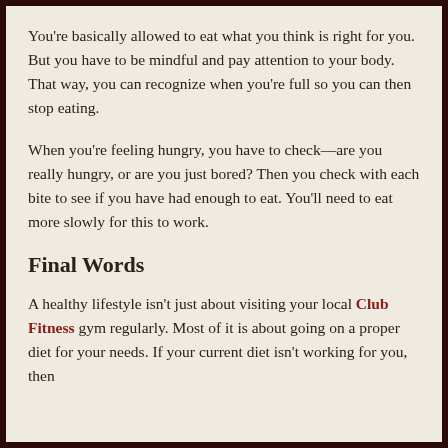You're basically allowed to eat what you think is right for you. But you have to be mindful and pay attention to your body. That way, you can recognize when you're full so you can then stop eating.
When you're feeling hungry, you have to check—are you really hungry, or are you just bored? Then you check with each bite to see if you have had enough to eat. You'll need to eat more slowly for this to work.
Final Words
A healthy lifestyle isn't just about visiting your local Club Fitness gym regularly. Most of it is about going on a proper diet for your needs. If your current diet isn't working for you, then